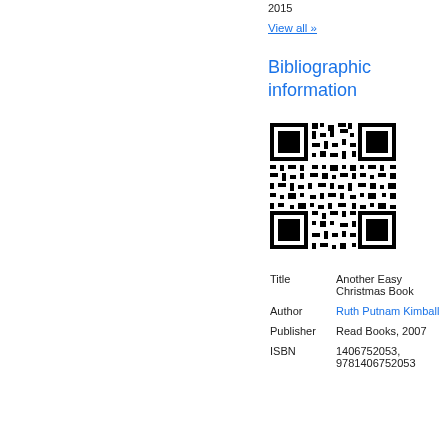2015
View all »
Bibliographic information
[Figure (other): QR code for bibliographic information]
| Title | Another Easy Christmas Book |
| Author | Ruth Putnam Kimball |
| Publisher | Read Books, 2007 |
| ISBN | 1406752053, 9781406752052 |